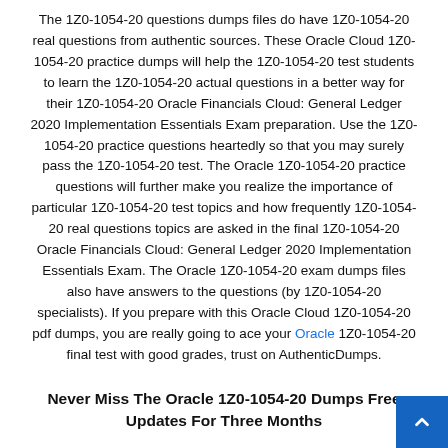The 1Z0-1054-20 questions dumps files do have 1Z0-1054-20 real questions from authentic sources. These Oracle Cloud 1Z0-1054-20 practice dumps will help the 1Z0-1054-20 test students to learn the 1Z0-1054-20 actual questions in a better way for their 1Z0-1054-20 Oracle Financials Cloud: General Ledger 2020 Implementation Essentials Exam preparation. Use the 1Z0-1054-20 practice questions heartedly so that you may surely pass the 1Z0-1054-20 test. The Oracle 1Z0-1054-20 practice questions will further make you realize the importance of particular 1Z0-1054-20 test topics and how frequently 1Z0-1054-20 real questions topics are asked in the final 1Z0-1054-20 Oracle Financials Cloud: General Ledger 2020 Implementation Essentials Exam. The Oracle 1Z0-1054-20 exam dumps files also have answers to the questions (by 1Z0-1054-20 specialists). If you prepare with this Oracle Cloud 1Z0-1054-20 pdf dumps, you are really going to ace your Oracle 1Z0-1054-20 final test with good grades, trust on AuthenticDumps.
Never Miss The Oracle 1Z0-1054-20 Dumps Free Updates For Three Months